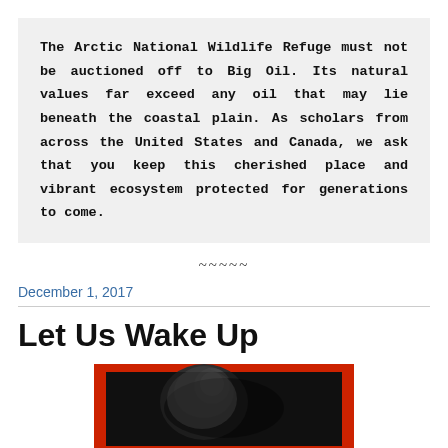The Arctic National Wildlife Refuge must not be auctioned off to Big Oil. Its natural values far exceed any oil that may lie beneath the coastal plain. As scholars from across the United States and Canada, we ask that you keep this cherished place and vibrant ecosystem protected for generations to come.
~~~~~
December 1, 2017
Let Us Wake Up
[Figure (photo): Black and white photo with a red border/frame, appears to show a dark silhouetted subject]